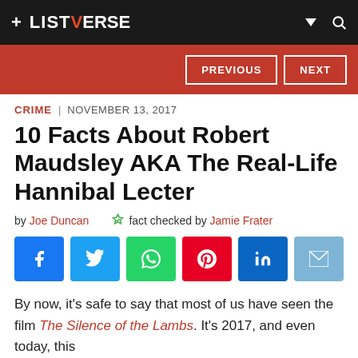+ LISTVERSE
PREVIOUS   NEXT
CRIME | NOVEMBER 13, 2017
10 Facts About Robert Maudsley AKA The Real-Life Hannibal Lecter
by Joe Duncan   fact checked by Jamie Frater
[Figure (other): Social share buttons: Facebook, Twitter, WhatsApp, Pinterest, LinkedIn, Email]
By now, it's safe to say that most of us have seen the film The Silence of the Lambs. It's 2017, and even today, this early 1990s classic holds its own as a force to be reckoned with in the horror genre. Hannibal Lecter has become